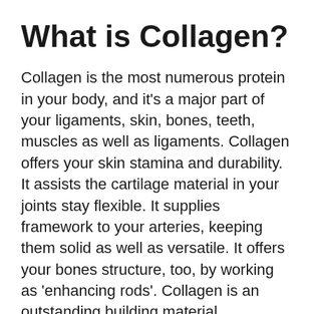What is Collagen?
Collagen is the most numerous protein in your body, and it’s a major part of your ligaments, skin, bones, teeth, muscles as well as ligaments. Collagen offers your skin stamina and durability. It assists the cartilage material in your joints stay flexible. It supplies framework to your arteries, keeping them solid as well as versatile. It offers your bones structure, too, by working as ‘enhancing rods’. Collagen is an outstanding building material.
Collagen comes in several types, yet the vast bulk in your body contains kinds I, II and also III. These types all develop relatively long, fine strands, a procedure that all calls